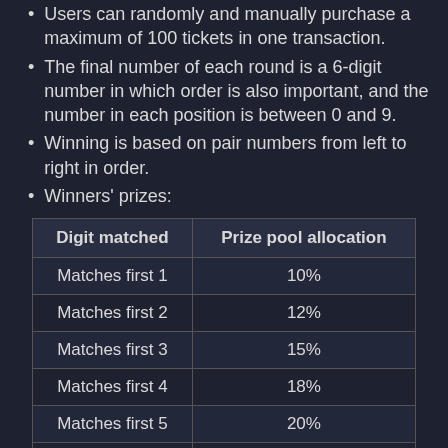Users can randomly and manually purchase a maximum of 100 tickets in one transaction.
The final number of each round is a 6-digit number in which order is also important, and the number in each position is between 0 and 9.
Winning is based on pair numbers from left to right in order.
Winners' prizes:
| Digit matched | Prize pool allocation |
| --- | --- |
| Matches first 1 | 10% |
| Matches first 2 | 12% |
| Matches first 3 | 15% |
| Matches first 4 | 18% |
| Matches first 5 | 20% |
| Matches first 6 | 25% |
The draw is fully random and based on the